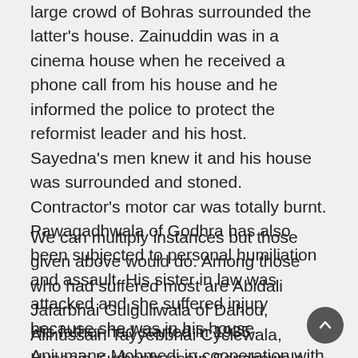large crowd of Bohras surrounded the latter's house. Zainuddin was in a cinema house when he received a phone call from his house and he informed the police to protect the reformist leader and his host. Sayedna's men knew it and his house was surrounded and stoned. Contractor's motor car was totally burnt. Pawagadhwala of Godhra has also been subjected to personal humiliation and assault. His sister in law was attacked and she suffered injury because she was in his house.
We can multiply instances but those given above would do. Among those who had suffered most are Abidali Jafarbhai Gulguliwala of Dahod, Alihussain Tayyebbhai Cyclewala, Hussain Kurbanhussain Sanchawala. Sanchawala had an additional tale of persecution to tell which in its enormity exceeds anything said here.
His father had started in 1935 Anjumane Mohmedi in cooperation with some other reformists of Bohra...